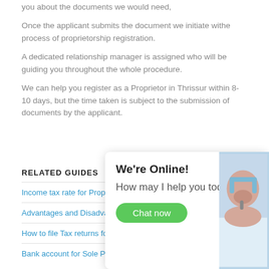you about the documents we would need,
Once the applicant submits the document we initiate withe process of proprietorship registration.
A dedicated relationship manager is assigned who will be guiding you throughout the whole procedure.
We can help you register as a Proprietor in Thrissur within 8-10 days, but the time taken is subject to the submission of documents by the applicant.
RELATED GUIDES
Income tax rate for Propri…
Advantages and Disadvan…
How to file Tax returns fo…
Bank account for Sole Proprietorships
[Figure (photo): Chat support widget showing 'We're Online! How may I help you today?' with a 'Chat now' green button and a photo of a woman wearing a headset]